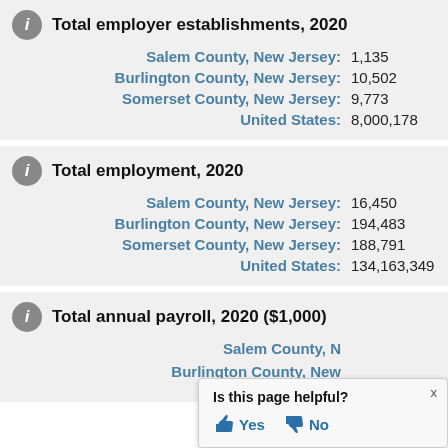Total employer establishments, 2020
| Location | Value |
| --- | --- |
| Salem County, New Jersey: | 1,135 |
| Burlington County, New Jersey: | 10,502 |
| Somerset County, New Jersey: | 9,773 |
| United States: | 8,000,178 |
Total employment, 2020
| Location | Value |
| --- | --- |
| Salem County, New Jersey: | 16,450 |
| Burlington County, New Jersey: | 194,483 |
| Somerset County, New Jersey: | 188,791 |
| United States: | 134,163,349 |
Total annual payroll, 2020 ($1,000)
| Location | Value |
| --- | --- |
| Salem County, N[obscured] |  |
| Burlington County, New[obscured] |  |
Is this page helpful? Yes No